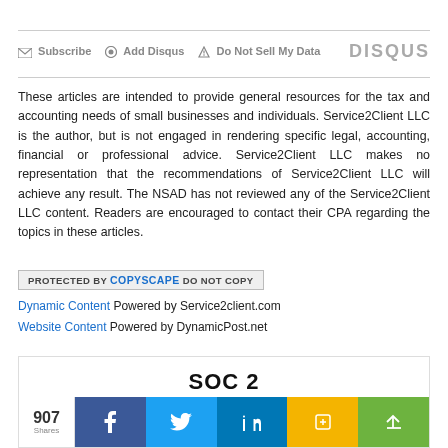Subscribe  Add Disqus  Do Not Sell My Data   DISQUS
These articles are intended to provide general resources for the tax and accounting needs of small businesses and individuals. Service2Client LLC is the author, but is not engaged in rendering specific legal, accounting, financial or professional advice. Service2Client LLC makes no representation that the recommendations of Service2Client LLC will achieve any result. The NSAD has not reviewed any of the Service2Client LLC content. Readers are encouraged to contact their CPA regarding the topics in these articles.
[Figure (other): Copyscape protected badge reading: PROTECTED BY COPYSCAPE DO NOT COPY]
Dynamic Content Powered by Service2client.com
Website Content Powered by DynamicPost.net
[Figure (other): Social share bar with 907 shares, Facebook, Twitter, LinkedIn, Google+, Share buttons, and SOC 2 logo partial]